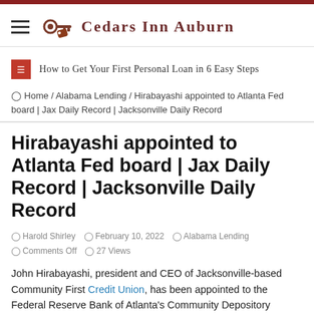Cedars Inn Auburn
How to Get Your First Personal Loan in 6 Easy Steps
Home / Alabama Lending / Hirabayashi appointed to Atlanta Fed board | Jax Daily Record | Jacksonville Daily Record
Hirabayashi appointed to Atlanta Fed board | Jax Daily Record | Jacksonville Daily Record
Harold Shirley  February 10, 2022  Alabama Lending  Comments Off  27 Views
John Hirabayashi, president and CEO of Jacksonville-based Community First Credit Union, has been appointed to the Federal Reserve Bank of Atlanta's Community Depository Institutions